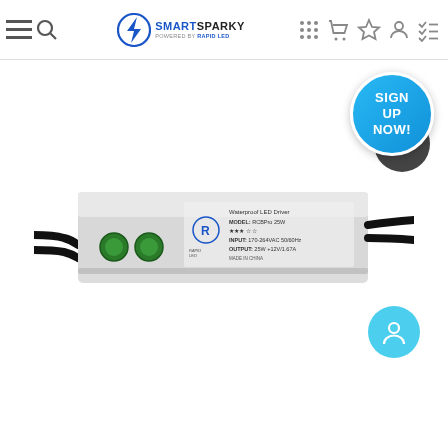SmartSparky website navigation bar with logo, search, cart, wishlist, account, and menu icons
[Figure (screenshot): SmartSparky e-commerce website navigation bar showing hamburger menu icon, search icon, SmartSparky logo (lightning bolt with text 'SMARTSPARKY powered by Rapid LED'), grid icon, cart icon, star/wishlist icon, user icon, and checklist/menu icon]
[Figure (photo): Product photo of a Waterproof LED Driver in a silver/grey metal enclosure with two green circular ports on the left side and black cables. Label reads: Waterproof LED Driver, MODEL: RCBPro 25W, INPUT: 170-264VAC 50/60Hz, OUTPUT: 25W +12V/1.67A. RAPID LED branding visible.]
[Figure (infographic): Circular blue badge with text 'SIGN UP NOW!' in white bold letters, overlapping a dark circular element with checklist icon]